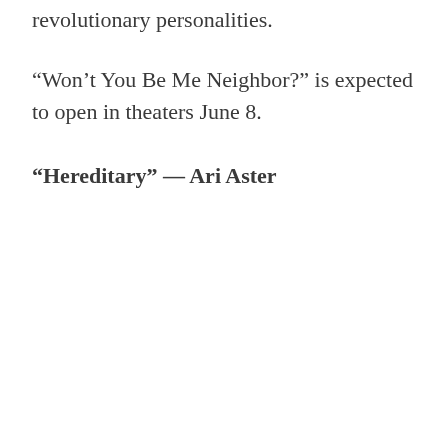revolutionary personalities.
“Won’t You Be Me Neighbor?” is expected to open in theaters June 8.
“Hereditary” — Ari Aster